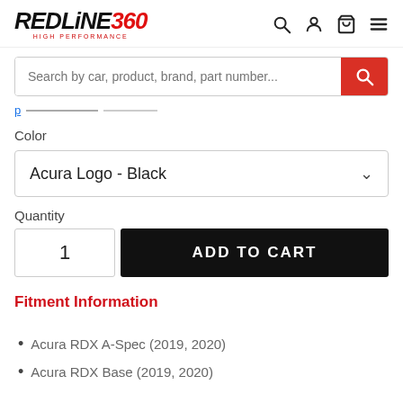REDLINE360 HIGH PERFORMANCE
Search by car, product, brand, part number...
Color
Acura Logo - Black
Quantity
1
ADD TO CART
Fitment Information
Acura RDX A-Spec (2019, 2020)
Acura RDX Base (2019, 2020)